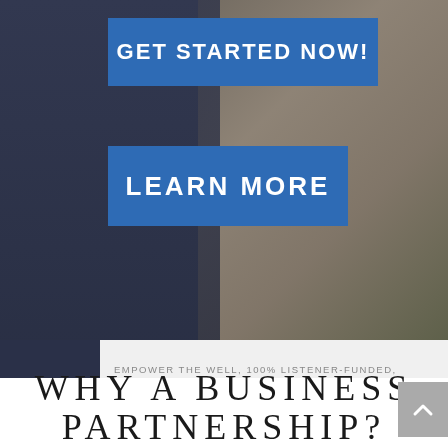[Figure (screenshot): Background photo of a building with dark blue overlay, partially visible brick/stone structure]
GET STARTED NOW!
LEARN MORE
EMPOWER THE WELL, 100% LISTENER-FUNDED, TO SERVE AS EAST TEXAS' COMMERCIAL-FREE, CHRIST-CENTERED VOICE OF LIFE.
WHY A BUSINESS PARTNERSHIP?